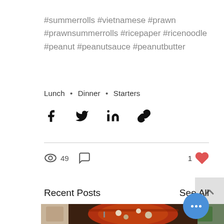#summerrolls #vietnamese #prawn #prawnsummerrolls #ricepaper #ricenoodle #peanut #peanutsauce #peanutbutter
Lunch • Dinner • Starters
[Figure (other): Social share icons: Facebook, Twitter, LinkedIn, link]
[Figure (other): Stats row: 49 views, 0 comments, 1 like]
Recent Posts
See All
[Figure (photo): Food photos: partial left image, center bowl of tomato soup with tofu and meatballs, partial right image of red pepper]